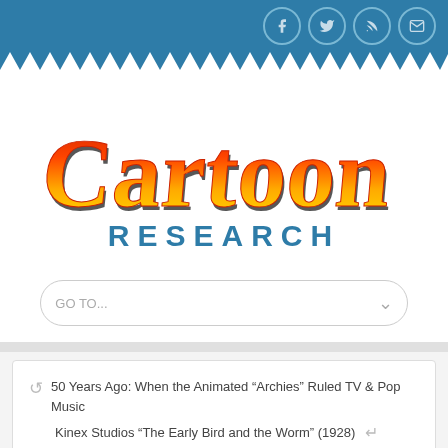[Figure (logo): Cartoon Research logo with colorful gradient lettering (red/orange/yellow) for 'Cartoon' and blue block letters for 'RESEARCH']
GO TO...
50 Years Ago: When the Animated “Archies” Ruled TV & Pop Music
Kinex Studios “The Early Bird and the Worm” (1928)
ANIMATION TRAILS